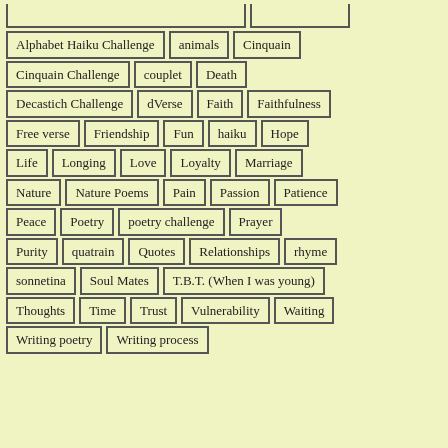Alphabet Haiku Challenge
animals
Cinquain
Cinquain Challenge
couplet
Death
Decastich Challenge
dVerse
Faith
Faithfulness
Free verse
Friendship
Fun
haiku
Hope
Life
Longing
Love
Loyalty
Marriage
Nature
Nature Poems
Pain
Passion
Patience
Peace
Poetry
poetry challenge
Prayer
Purity
quatrain
Quotes
Relationships
rhyme
sonnetina
Soul Mates
T.B.T. (When I was young)
Thoughts
Time
Trust
Vulnerability
Waiting
Writing poetry
Writing process